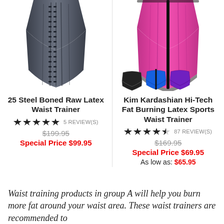[Figure (photo): Gray 25 Steel Boned Raw Latex Waist Trainer corset product photo]
[Figure (photo): Pink Kim Kardashian Hi-Tech Fat Burning Latex Sports Waist Trainer with black, blue, and purple color swatches]
25 Steel Boned Raw Latex Waist Trainer
★★★★★ 5 REVIEW(S)
$199.95 (strikethrough) Special Price $99.95
Kim Kardashian Hi-Tech Fat Burning Latex Sports Waist Trainer
★★★★½ 87 REVIEW(S)
$169.95 (strikethrough) Special Price $69.95 As low as: $65.95
Waist training products in group A will help you burn more fat around your waist area. These waist trainers are recommended to